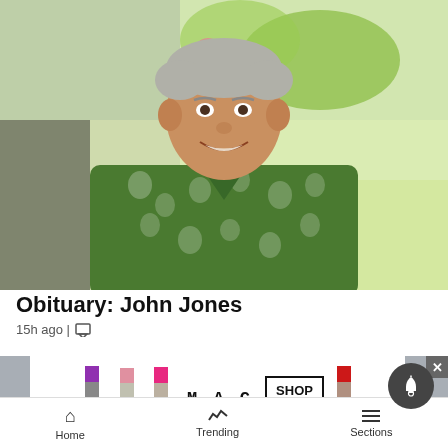[Figure (photo): Elderly man smiling, wearing a green Hawaiian floral shirt, seated outdoors with colorful flowers in the background]
Obituary: John Jones
15h ago | [comment icon]
[Figure (other): Advertisement for MAC cosmetics showing lipsticks in purple, pink, hot pink, and red colors with MAC logo and SHOP NOW button]
Home | Trending | Sections